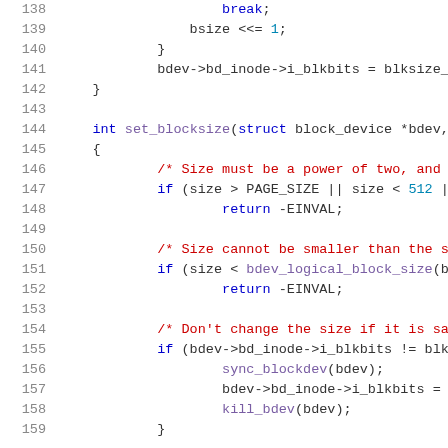[Figure (screenshot): Source code listing lines 138-158 of a C kernel file showing set_blocksize function with syntax highlighting. Line numbers in gray, keywords in blue, comments in red, numbers in teal, function names in purple.]